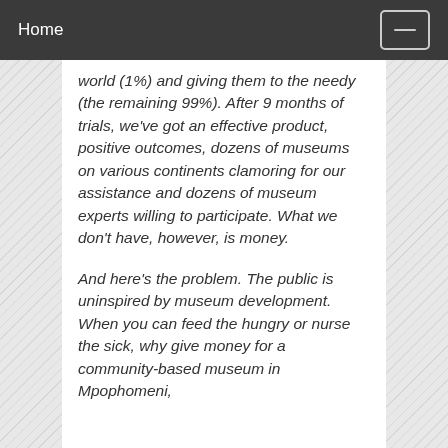Home
world (1%) and giving them to the needy (the remaining 99%). After 9 months of trials, we've got an effective product, positive outcomes, dozens of museums on various continents clamoring for our assistance and dozens of museum experts willing to participate. What we don't have, however, is money.
And here's the problem. The public is uninspired by museum development. When you can feed the hungry or nurse the sick, why give money for a community-based museum in Mpophomeni,